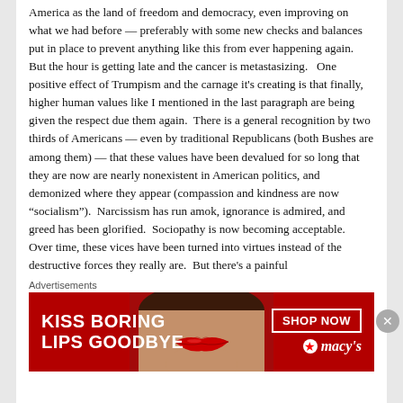America as the land of freedom and democracy, even improving on what we had before — preferably with some new checks and balances put in place to prevent anything like this from ever happening again.   But the hour is getting late and the cancer is metastasizing.   One positive effect of Trumpism and the carnage it's creating is that finally, higher human values like I mentioned in the last paragraph are being given the respect due them again.  There is a general recognition by two thirds of Americans — even by traditional Republicans (both Bushes are among them) — that these values have been devalued for so long that they are now are nearly nonexistent in American politics, and demonized where they appear (compassion and kindness are now “socialism”).  Narcissism has run amok, ignorance is admired, and greed has been glorified.  Sociopathy is now becoming acceptable.  Over time, these vices have been turned into virtues instead of the destructive forces they really are.  But there's a painful
Advertisements
[Figure (infographic): Macy's advertisement banner with red background. Left side shows bold white text 'KISS BORING LIPS GOODBYE'. Center shows a close-up of a woman's face with red lipstick. Right side shows 'SHOP NOW' button in white border and Macy's logo with star.]